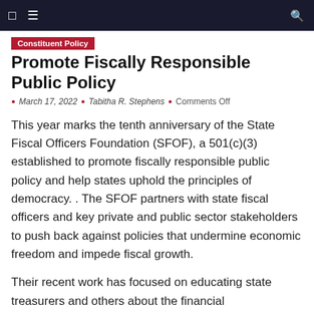Constituent Policy
Promote Fiscally Responsible Public Policy
March 17, 2022  |  Tabitha R. Stephens  |  Comments Off
This year marks the tenth anniversary of the State Fiscal Officers Foundation (SFOF), a 501(c)(3) established to promote fiscally responsible public policy and help states uphold the principles of democracy. . The SFOF partners with state fiscal officers and key private and public sector stakeholders to push back against policies that undermine economic freedom and impede fiscal growth.
Their recent work has focused on educating state treasurers and others about the financial consequences of environmental, social and governance policies, which companies are increasingly adopting so investors can track things like social goals and company leadership. While these